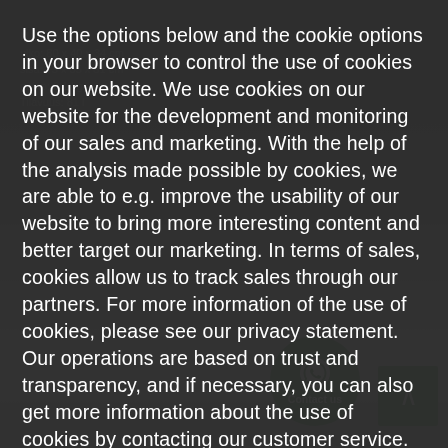ulko: 80 x 40 x 34 cm
sisä: 75 x 35 x 31 cm
paino: 6,1 kg
Tilavuus: 81 l
Use the options below and the cookie options in your browser to control the use of cookies on our website. We use cookies on our website for the development and monitoring of our sales and marketing. With the help of the analysis made possible by cookies, we are able to e.g. improve the usability of our website to bring more interesting content and better target our marketing. In terms of sales, cookies allow us to track sales through our partners. For more information of the use of cookies, please see our privacy statement. Our operations are based on trust and transparency, and if necessary, you can also get more information about the use of cookies by contacting our customer service.
> More information
I AGREE
Contact us